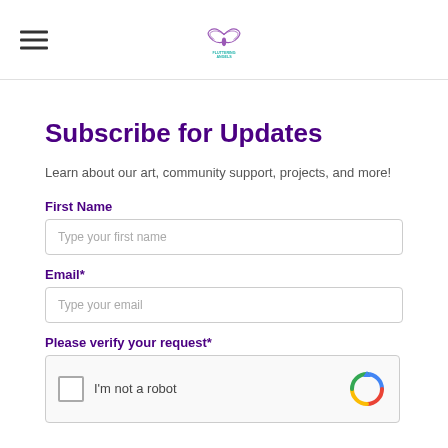Fluttering Angels logo and hamburger menu
Subscribe for Updates
Learn about our art, community support, projects, and more!
First Name
Type your first name
Email*
Type your email
Please verify your request*
[Figure (other): reCAPTCHA widget with checkbox labeled I'm not a robot]